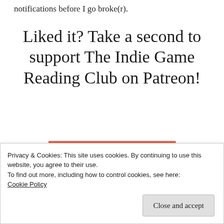notifications before I go broke(r).
Liked it? Take a second to support The Indie Game Reading Club on Patreon!
[Figure (other): Patreon 'Become a Patron' button — coral/salmon colored rectangle with white Patreon logo icon (vertical bar and circle) and white bold uppercase text 'BECOME A PATRON']
Share this:
Privacy & Cookies: This site uses cookies. By continuing to use this website, you agree to their use.
To find out more, including how to control cookies, see here:
Cookie Policy
Close and accept